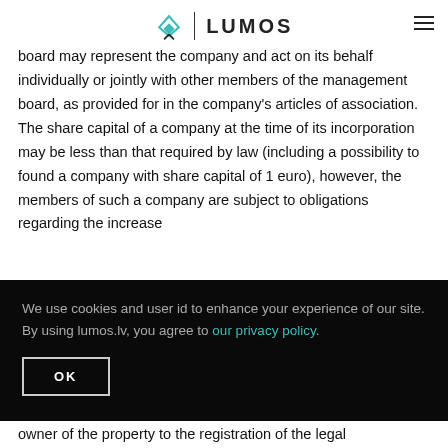LUMOS
board may represent the company and act on its behalf individually or jointly with other members of the management board, as provided for in the company's articles of association. The share capital of a company at the time of its incorporation may be less than that required by law (including a possibility to found a company with share capital of 1 euro), however, the members of such a company are subject to obligations regarding the increase
We use cookies and user id to enhance your experience of our site. By using lumos.lv, you agree to our privacy policy.
OK
owner of the property to the registration of the legal